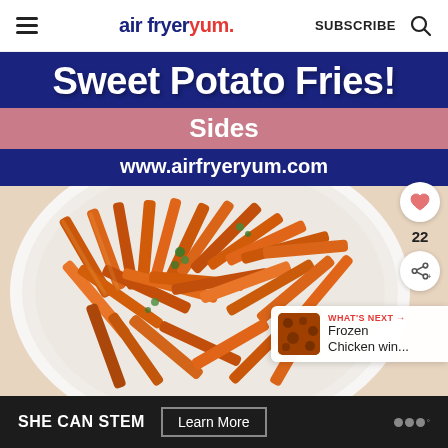air fryer yum. | SUBSCRIBE
[Figure (photo): Air fryer sweet potato fries on a white plate with fresh herbs, photographed from above with text overlays: 'Sweet Potato Fries!' in white bold font on navy background, 'Sides' on pink/mauve background, 'www.airfryeryum.com' on navy background. Right side has heart/like button (22 likes), share button, and 'WHAT'S NEXT → Frozen Chicken win...' card.]
SHE CAN STEM  Learn More